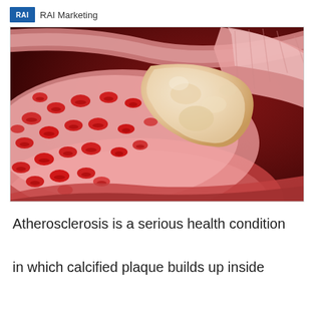RAI RAI Marketing
[Figure (illustration): Medical illustration of atherosclerosis showing a cross-section of a blood vessel (artery) cut open to reveal red blood cells and a large calcified plaque buildup narrowing the vessel lumen. The artery wall is shown in pink/red tones, the plaque is depicted in a yellowish-tan color, and numerous red biconcave disc-shaped blood cells (erythrocytes) are visible in the lumen. The background is dark red.]
Atherosclerosis is a serious health condition in which calcified plaque builds up inside